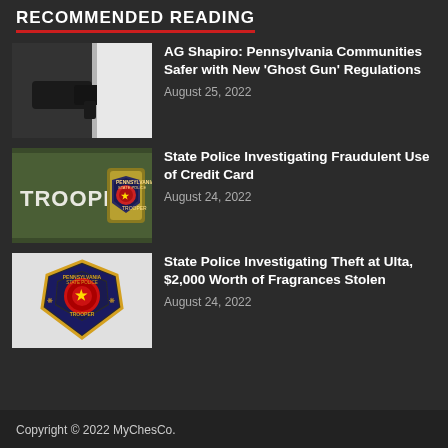RECOMMENDED READING
AG Shapiro: Pennsylvania Communities Safer with New 'Ghost Gun' Regulations
August 25, 2022
State Police Investigating Fraudulent Use of Credit Card
August 24, 2022
State Police Investigating Theft at Ulta, $2,000 Worth of Fragrances Stolen
August 24, 2022
Copyright © 2022 MyChesCo.